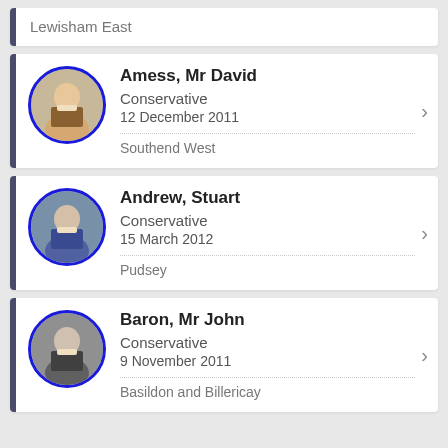Lewisham East
Amess, Mr David | Conservative | 12 December 2011 | Southend West
Andrew, Stuart | Conservative | 15 March 2012 | Pudsey
Baron, Mr John | Conservative | 9 November 2011 | Basildon and Billericay